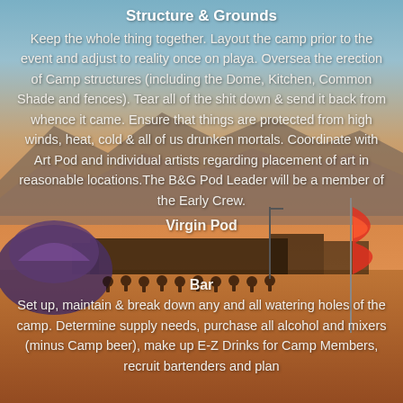[Figure (photo): Burning Man event scene at sunset with a large dome structure on the left, people on bicycles in the middle distance, mountains in background, and a red flag on the right side]
Structure & Grounds
Keep the whole thing together. Layout the camp prior to the event and adjust to reality once on playa. Oversea the erection of Camp structures (including the Dome, Kitchen, Common Shade and fences). Tear all of the shit down & send it back from whence it came. Ensure that things are protected from high winds, heat, cold & all of us drunken mortals. Coordinate with Art Pod and individual artists regarding placement of art in reasonable locations.The B&G Pod Leader will be a member of the Early Crew.
Virgin Pod
Bar
Set up, maintain & break down any and all watering holes of the camp. Determine supply needs, purchase all alcohol and mixers (minus Camp beer), make up E-Z Drinks for Camp Members, recruit bartenders and plan